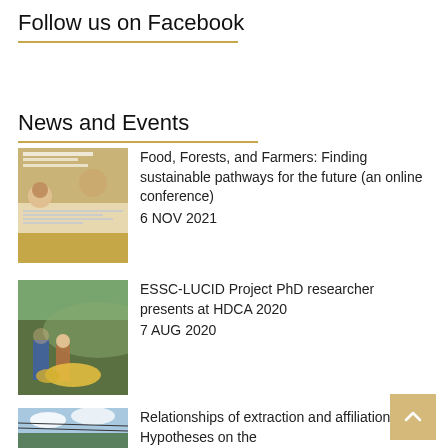Follow us on Facebook
News and Events
[Figure (photo): Conference poster for Food, Forests, and Farmers event]
Food, Forests, and Farmers: Finding sustainable pathways for the future (an online conference)
6 NOV 2021
[Figure (photo): Two people working in a field with yellow produce]
ESSC-LUCID Project PhD researcher presents at HDCA 2020
7 AUG 2020
[Figure (photo): Sky with clouds and power lines]
Relationships of extraction and affiliation: Hypotheses on the